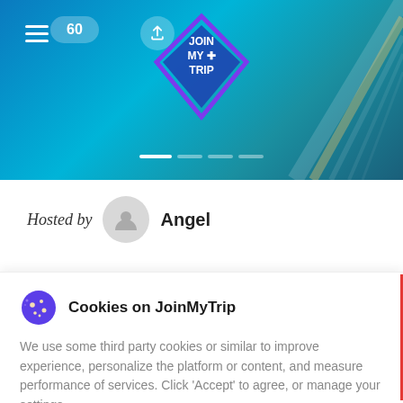[Figure (screenshot): JoinMyTrip app header banner with gradient blue background, hamburger menu, 60 button, share button, diamond-shaped logo with JOIN MY+ TRIP text, and progress indicator dots]
Hosted by Angel
Cookies on JoinMyTrip
We use some third party cookies or similar to improve experience, personalize the platform or content, and measure performance of services. Click 'Accept' to agree, or manage your settings
Manage settings
ACCEPT